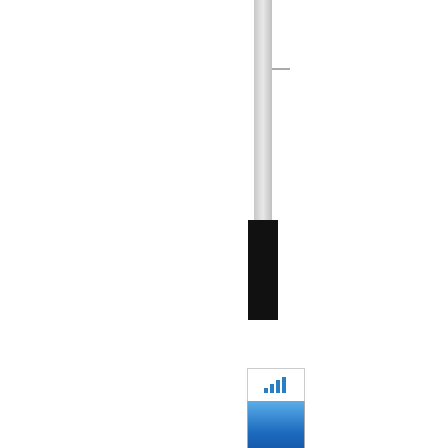[Figure (illustration): Vertical spine/tab structure showing a silver-grey vertical bar at top, a black rectangular block in the middle, followed by a chart icon with blue gradient area and bar chart symbol, silver section, and grey footer tab. Below are navigation labels: F, 1, C, 3, T with dividers between groups.]
F
1
C
3
T